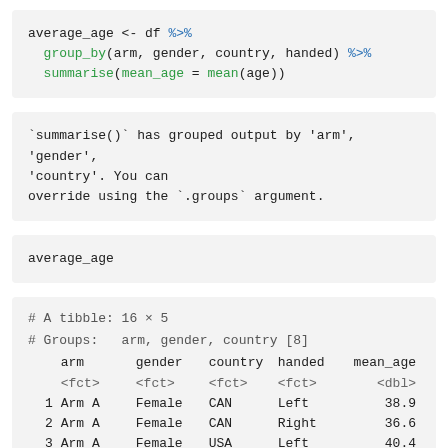average_age <- df %>%
  group_by(arm, gender, country, handed) %>%
  summarise(mean_age = mean(age))
`summarise()` has grouped output by 'arm', 'gender', 'country'. You can override using the `.groups` argument.
average_age
| arm | gender | country | handed | mean_age |
| --- | --- | --- | --- | --- |
| Arm A | Female | CAN | Left | 38.9 |
| Arm A | Female | CAN | Right | 36.6 |
| Arm A | Female | USA | Left | 40.4 |
| Arm A | Female | USA | Right | 36.9 |
| Arm A | Male | CAN | Left | 40.4 |
| Arm A | Male | CAN | Right | 40.2 |